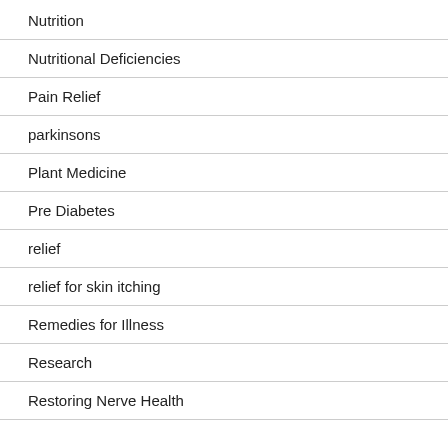Nutrition
Nutritional Deficiencies
Pain Relief
parkinsons
Plant Medicine
Pre Diabetes
relief
relief for skin itching
Remedies for Illness
Research
Restoring Nerve Health